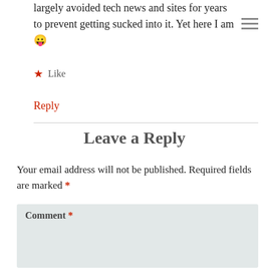largely avoided tech news and sites for years to prevent getting sucked into it. Yet here I am 😛
★ Like
Reply
Leave a Reply
Your email address will not be published. Required fields are marked *
Comment *